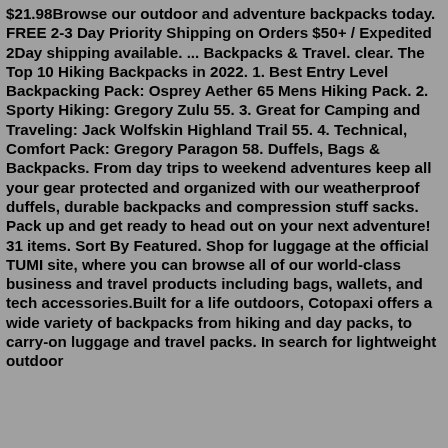$21.98Browse our outdoor and adventure backpacks today. FREE 2-3 Day Priority Shipping on Orders $50+ / Expedited 2Day shipping available. ... Backpacks & Travel. clear. The Top 10 Hiking Backpacks in 2022. 1. Best Entry Level Backpacking Pack: Osprey Aether 65 Mens Hiking Pack. 2. Sporty Hiking: Gregory Zulu 55. 3. Great for Camping and Traveling: Jack Wolfskin Highland Trail 55. 4. Technical, Comfort Pack: Gregory Paragon 58. Duffels, Bags & Backpacks. From day trips to weekend adventures keep all your gear protected and organized with our weatherproof duffels, durable backpacks and compression stuff sacks. Pack up and get ready to head out on your next adventure! 31 items. Sort By Featured. Shop for luggage at the official TUMI site, where you can browse all of our world-class business and travel products including bags, wallets, and tech accessories.Built for a life outdoors, Cotopaxi offers a wide variety of backpacks from hiking and day packs, to carry-on luggage and travel packs. In search for lightweight outdoor